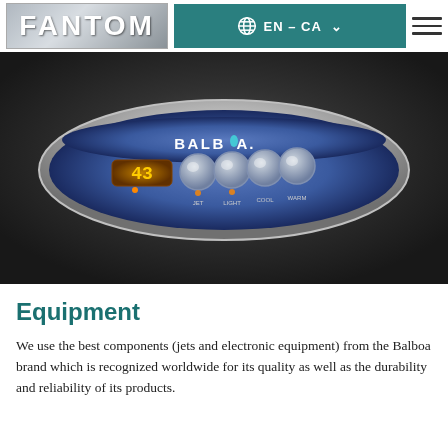FANTOM | EN – CA
[Figure (photo): Close-up photo of a Balboa brand hot tub control panel with digital temperature display showing 43, four control buttons, and labels: JET, LIGHT, COOL, WARM. The panel is oval-shaped with a blue gradient face set into dark foam/material.]
Equipment
We use the best components (jets and electronic equipment) from the Balboa brand which is recognized worldwide for its quality as well as the durability and reliability of its products.